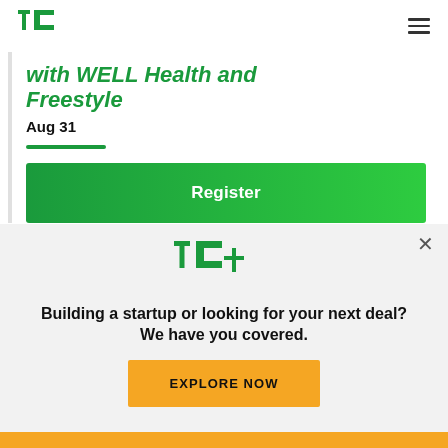[Figure (logo): TechCrunch TC logo in green]
with WELL Health and Freestyle
Aug 31
[Figure (other): Green horizontal divider line]
Register
[Figure (logo): TC+ logo in green with plus sign]
Building a startup or looking for your next deal? We have you covered.
EXPLORE NOW